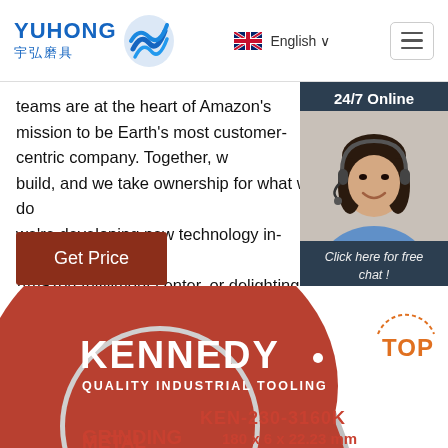[Figure (logo): YUHONG 宇弘磨具 logo with blue wave icon]
English ∨
teams are at the heart of Amazon's mission to be Earth's most customer-centric company. Together, w... build, and we take ownership for what we do... we're developing new technology in-house, l... Amazon fulfillment center, or delighting our c... delivering packages directly to them.
24/7 Online
[Figure (photo): Customer service representative with headset smiling]
Click here for free chat !
QUOTATION
Get Price
[Figure (photo): Kennedy quality industrial tooling grinding disc - KEN-230-3160K, 180 x 6 x 22.23 mm, Grinding Metal]
TOP